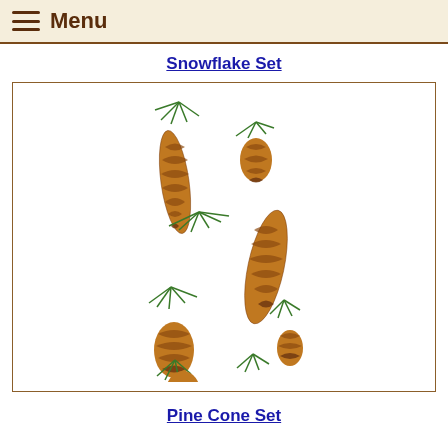Menu
Snowflake Set
[Figure (illustration): Pine cone set illustration showing several pine cones of varying sizes with green pine needle branches arranged in a decorative vertical cluster pattern against a white background inside a brown-bordered box.]
Pine Cone Set